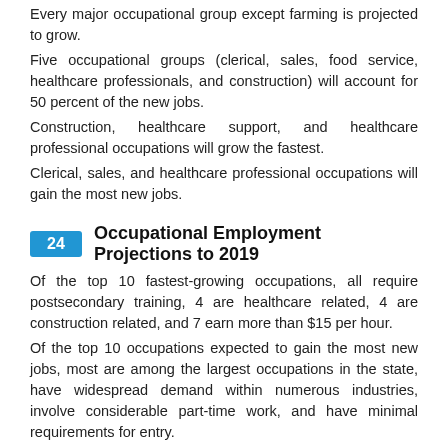Every major occupational group except farming is projected to grow.
Five occupational groups (clerical, sales, food service, healthcare professionals, and construction) will account for 50 percent of the new jobs.
Construction, healthcare support, and healthcare professional occupations will grow the fastest.
Clerical, sales, and healthcare professional occupations will gain the most new jobs.
24  Occupational Employment Projections to 2019
Of the top 10 fastest-growing occupations, all require postsecondary training, 4 are healthcare related, 4 are construction related, and 7 earn more than $15 per hour.
Of the top 10 occupations expected to gain the most new jobs, most are among the largest occupations in the state, have widespread demand within numerous industries, involve considerable part-time work, and have minimal requirements for entry.
Overall, 60 percent of the projected job openings will be due to replacement needs, and just 40 percent due to economic growth.